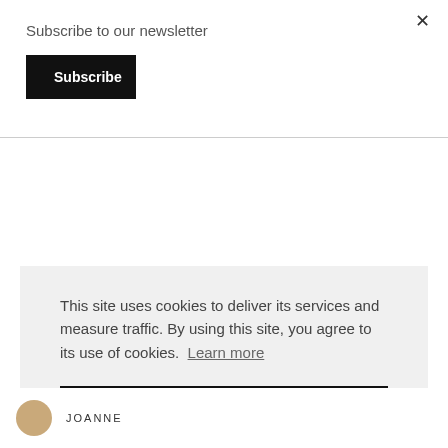Subscribe to our newsletter
Subscribe
×
This site uses cookies to deliver its services and measure traffic. By using this site, you agree to its use of cookies. Learn more
Got it!
JOANNE